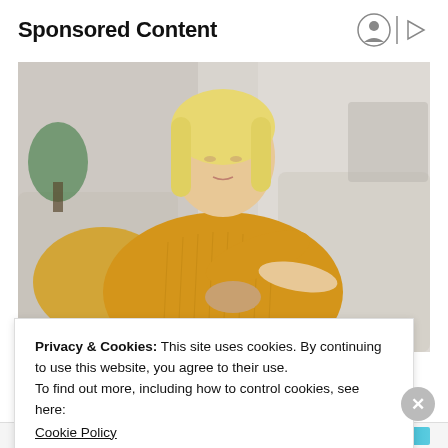Sponsored Content
[Figure (photo): A blonde woman in a yellow knit sweater sitting on a couch, looking down and examining or scratching her arm/wrist area. Indoor setting with cushions and a plant visible in the background.]
Privacy & Cookies: This site uses cookies. By continuing to use this website, you agree to their use.
To find out more, including how to control cookies, see here: Cookie Policy
Close and accept